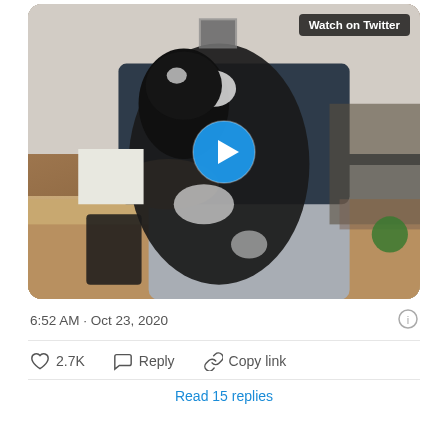[Figure (screenshot): Twitter/X embedded video thumbnail showing a person holding a large black and white cat in an indoor setting. A blue play button circle is centered on the image. A 'Watch on Twitter' badge appears in the top-right corner of the video thumbnail.]
6:52 AM · Oct 23, 2020
2.7K   Reply   Copy link
Read 15 replies